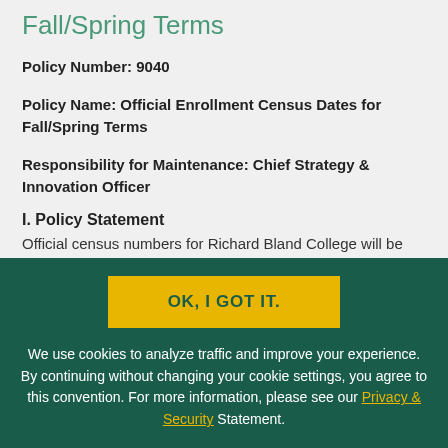Fall/Spring Terms
Policy Number: 9040
Policy Name: Official Enrollment Census Dates for Fall/Spring Terms
Responsibility for Maintenance: Chief Strategy & Innovation Officer
I. Policy Statement
Official census numbers for Richard Bland College will be
OK, I GOT IT.
We use cookies to analyze traffic and improve your experience. By continuing without changing your cookie settings, you agree to this convention. For more information, please see our Privacy & Security Statement.